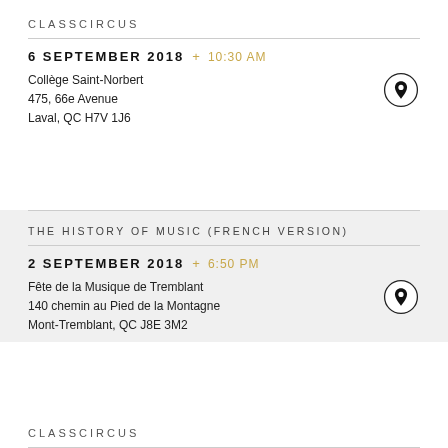CLASSCIRCUS
6 SEPTEMBER 2018  +  10:30 AM
Collège Saint-Norbert
475, 66e Avenue
Laval, QC H7V 1J6
THE HISTORY OF MUSIC (FRENCH VERSION)
2 SEPTEMBER 2018  +  6:50 PM
Fête de la Musique de Tremblant
140 chemin au Pied de la Montagne
Mont-Tremblant, QC J8E 3M2
CLASSCIRCUS